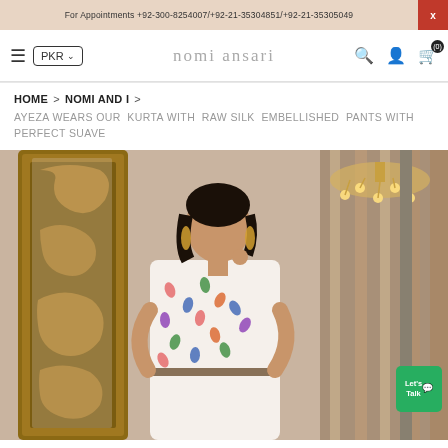For Appointments +92-300-8254007/+92-21-35304851/+92-21-35305049
nomi ansari — PKR — navigation bar with hamburger menu, search, user, and cart icons
HOME > NOMI AND I >
AYEZA WEARS OUR KURTA WITH RAW SILK EMBELLISHED PANTS WITH PERFECT SUAVE
[Figure (photo): Fashion photograph of Ayeza Khan wearing a white printed kurta with colorful leaf pattern, standing next to an ornate golden mirror frame. A chandelier is visible in the background with beige curtains.]